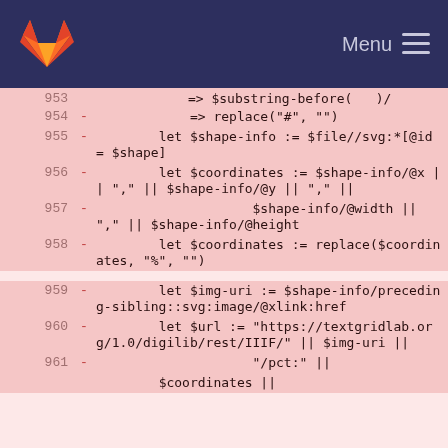Menu
[Figure (screenshot): GitLab navigation bar with fox logo and hamburger menu on dark blue background]
953  =>  $substring-before(  )/
954  -   => replace("#", "")
955  -   let $shape-info := $file//svg:*[@id = $shape]
956  -   let $coordinates := $shape-info/@x || "," || $shape-info/@y || "," ||
957  -   $shape-info/@width || "," || $shape-info/@height
958  -   let $coordinates := replace($coordinates, "%", "")
959  -   let $img-uri := $shape-info/preceding-sibling::svg:image/@xlink:href
960  -   let $url := "https://textgridlab.org/1.0/digilib/rest/IIIF/" || $img-uri ||
961  -   "/pct:" ||
        $coordinates ||